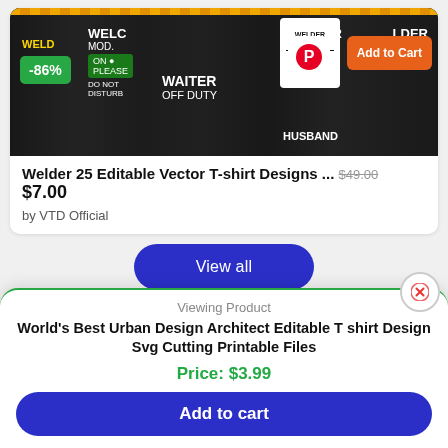[Figure (screenshot): Product listing image showing a collage of welder-themed t-shirt designs with -86% badge, Pinterest button, Add to Cart button, and HUSBAND overlay text]
Welder 25 Editable Vector T-shirt Designs ... $49.00 $7.00
by VTD Official
View all
Viewing Product
World's Best Urban Design Architect Editable T shirt Design Svg Cutting Printable Files
Price: $3.99
Add to cart